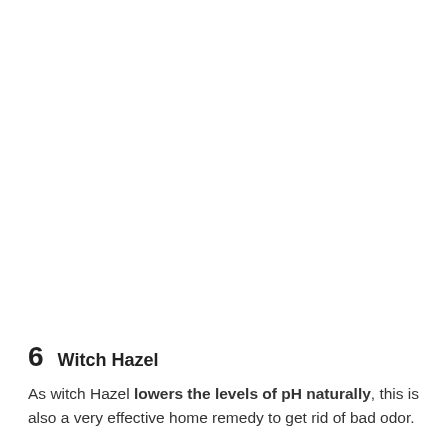6 Witch Hazel
As witch Hazel lowers the levels of pH naturally, this is also a very effective home remedy to get rid of bad odor.